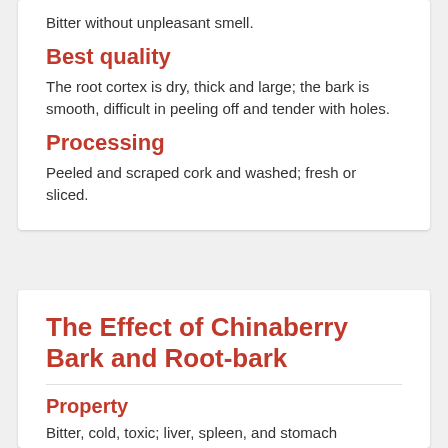Bitter without unpleasant smell.
Best quality
The root cortex is dry, thick and large; the bark is smooth, difficult in peeling off and tender with holes.
Processing
Peeled and scraped cork and washed; fresh or sliced.
The Effect of Chinaberry Bark and Root-bark
Property
Bitter, cold, toxic; liver, spleen, and stomach meridians